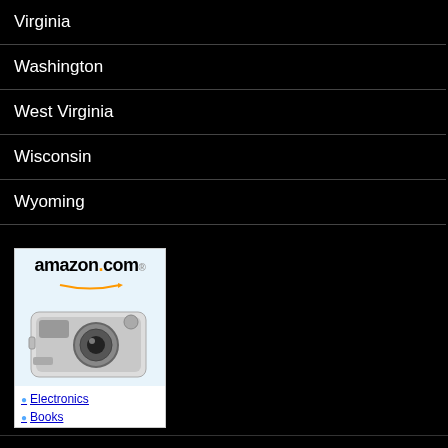Virginia
Washington
West Virginia
Wisconsin
Wyoming
[Figure (screenshot): Amazon.com advertisement banner showing the amazon.com logo with orange smile arrow, a digital camera image, and links to Electronics and Books categories]